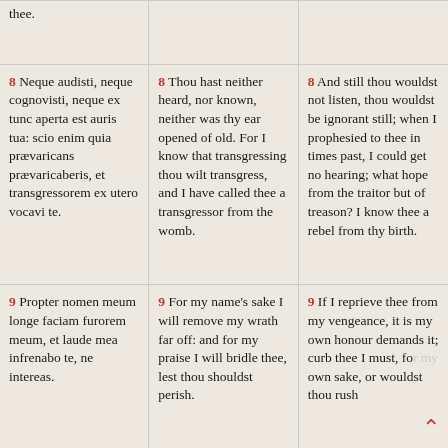thee.
8 Neque audisti, neque cognovisti, neque ex tunc aperta est auris tua: scio enim quia prævaricans prævaricaberis, et transgressorem ex utero vocavi te.
8 Thou hast neither heard, nor known, neither was thy ear opened of old. For I know that transgressing thou wilt transgress, and I have called thee a transgressor from the womb.
8 And still thou wouldst not listen, thou wouldst be ignorant still; when I prophesied to thee in times past, I could get no hearing; what hope from the traitor but of treason? I know thee a rebel from thy birth.
9 Propter nomen meum longe faciam furorem meum, et laude mea infrenabo te, ne intereas.
9 For my name's sake I will remove my wrath far off: and for my praise I will bridle thee, lest thou shouldst perish.
9 If I reprieve thee from my vengeance, it is my own honour demands it; curb thee I must, for my own sake, or wouldst thou rush